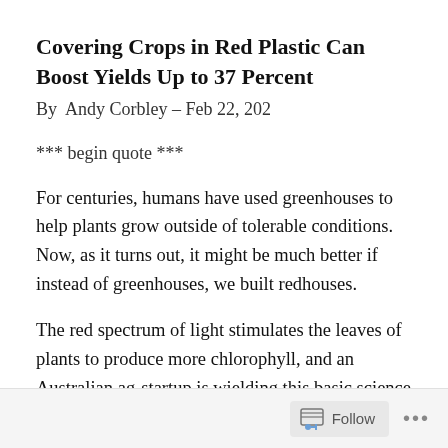Covering Crops in Red Plastic Can Boost Yields Up to 37 Percent
By  Andy Corbley – Feb 22, 202
*** begin quote ***
For centuries, humans have used greenhouses to help plants grow outside of tolerable conditions. Now, as it turns out, it might be much better if instead of greenhouses, we built redhouses.
The red spectrum of light stimulates the leaves of plants to produce more chlorophyll, and an Australian ag-startup is wielding this basic science to create thick red films to cover existing greenhouses in order to boost plant production beyond what either the sun, or
Follow  •••